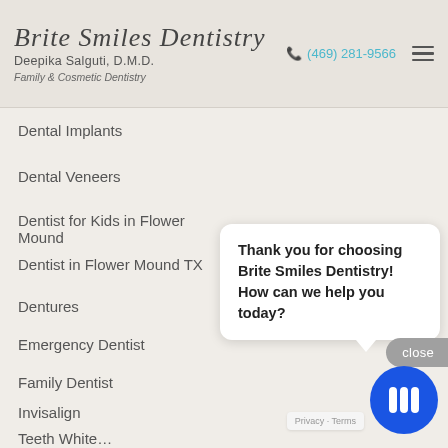Brite Smiles Dentistry — Deepika Salguti, D.M.D. — Family & Cosmetic Dentistry — (469) 281-9566
Dental Implants
Dental Veneers
Dentist for Kids in Flower Mound
Dentist in Flower Mound TX
Dentures
Emergency Dentist
Family Dentist
Invisalign
Teeth Whitening
Uncategori…
Thank you for choosing Brite Smiles Dentistry! How can we help you today?
close
Privacy · Terms